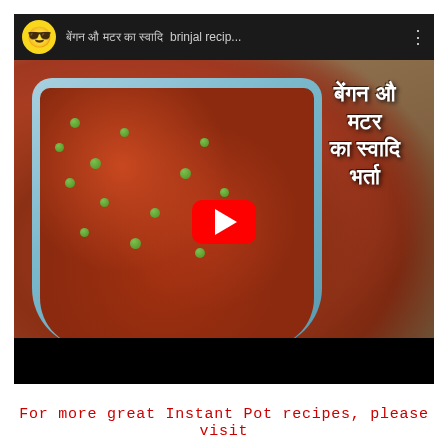[Figure (screenshot): YouTube video player screenshot showing a Hindi recipe video titled 'brinjal recip...' with a thumbnail of a blue bowl containing brinjal (eggplant) and peas curry. Hindi text overlay reads 'बेंगन औ मटर का स्वादि भर्ता'. A red YouTube play button is centered on the thumbnail. The top bar shows a yellow smiley emoji channel icon and the video title. The bottom has a black progress bar area.]
For more great Instant Pot recipes, please visit